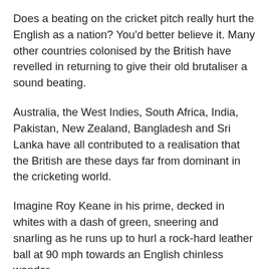Does a beating on the cricket pitch really hurt the English as a nation? You'd better believe it. Many other countries colonised by the British have revelled in returning to give their old brutaliser a sound beating.
Australia, the West Indies, South Africa, India, Pakistan, New Zealand, Bangladesh and Sri Lanka have all contributed to a realisation that the British are these days far from dominant in the cricketing world.
Imagine Roy Keane in his prime, decked in whites with a dash of green, sneering and snarling as he runs up to hurl a rock-hard leather ball at 90 mph towards an English chinless wonder.
Dribbling yet?